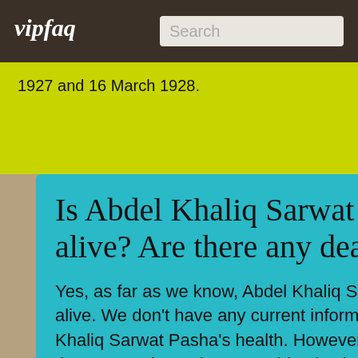vipfaq
1927 and 16 March 1928.
Is Abdel Khaliq Sarwat Pasha still alive? Are there any death rumors?
Yes, as far as we know, Abdel Khaliq Sarwat Pasha is still alive. We don't have any current information about Abdel Khaliq Sarwat Pasha's health. However, being younger than 50, we hope that everything is ok.